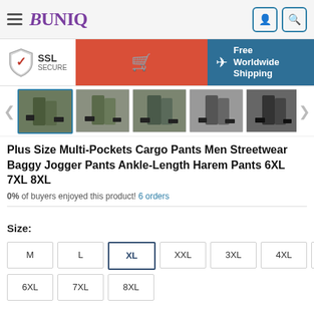Buniq
[Figure (screenshot): SSL Secure badge, red shopping cart button, and Free Worldwide Shipping banner with teal background]
[Figure (photo): Row of 5 product thumbnail images showing men wearing cargo pants in various colors (olive, camo, dark), with left/right navigation arrows]
Plus Size Multi-Pockets Cargo Pants Men Streetwear Baggy Jogger Pants Ankle-Length Harem Pants 6XL 7XL 8XL
0% of buyers enjoyed this product! 6 orders
Size: M L XL XXL 3XL 4XL 5XL 6XL 7XL 8XL